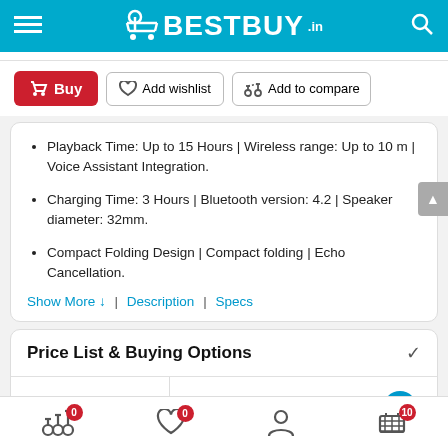BESTBUY.in
Playback Time: Up to 15 Hours | Wireless range: Up to 10 m | Voice Assistant Integration.
Charging Time: 3 Hours | Bluetooth version: 4.2 | Speaker diameter: 32mm.
Compact Folding Design | Compact folding | Echo Cancellation.
Show More ↓  |  Description  |  Specs
Price List & Buying Options
| Store | Price |
| --- | --- |
| amazon | Rs. 7,532 |
Bottom navigation: Compare (0), Wishlist (0), Account, Cart (10)